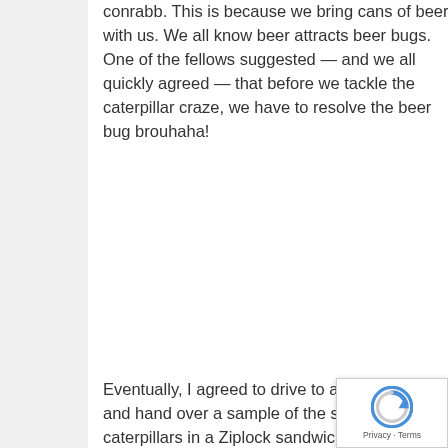conrabb. This is because we bring cans of beer with us. We all know beer attracts beer bugs. One of the fellows suggested — and we all quickly agreed — that before we tackle the caterpillar craze, we have to resolve the beer bug brouhaha!
Eventually, I agreed to drive to a garden centre and hand over a sample of the small fury caterpillars in a Ziplock sandwich bag — usually reserved for sliced carrot sticks for your wife's diet. (See: *WARNING). Here is how the conversation went